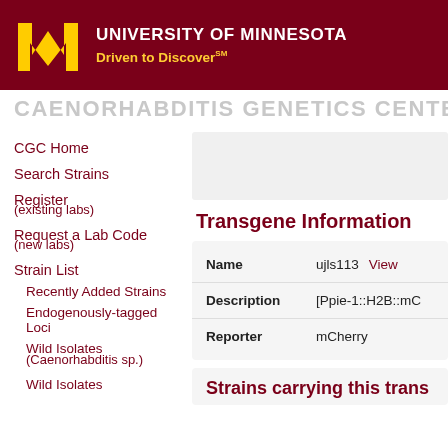[Figure (logo): University of Minnesota logo: gold M letter mark with maroon header, text 'University of Minnesota' and tagline 'Driven to Discover']
CAENORHABDITIS GENETICS CENTER (CGC)
CGC Home
Search Strains
Register
(existing labs)
Request a Lab Code
(new labs)
Strain List
Recently Added Strains
Endogenously-tagged Loci
Wild Isolates
(Caenorhabitis sp.)
Wild Isolates
Transgene Information
| Field | Value |
| --- | --- |
| Name | ujls113  View |
| Description | [Ppie-1::H2B::mC... |
| Reporter | mCherry |
Strains carrying this trans...